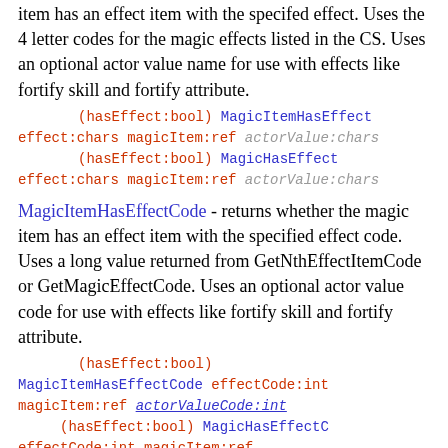item has an effect item with the specifed effect. Uses the 4 letter codes for the magic effects listed in the CS. Uses an optional actor value name for use with effects like fortify skill and fortify attribute.
(hasEffect:bool) MagicItemHasEffect effect:chars magicItem:ref actorValue:chars (hasEffect:bool) MagicHasEffect effect:chars magicItem:ref actorValue:chars
MagicItemHasEffectCode - returns whether the magic item has an effect item with the specified effect code. Uses a long value returned from GetNthEffectItemCode or GetMagicEffectCode. Uses an optional actor value code for use with effects like fortify skill and fortify attribute.
(hasEffect:bool) MagicItemHasEffectCode effectCode:int magicItem:ref actorValueCode:int (hasEffect:bool) MagicHasEffectC effectCode:int magicItem:ref actorValueCode:int
MagicItemHasEffectCount - returns the count of the specified effects on the magic item. Has an optional actorValue name for use with effects like fortify skill